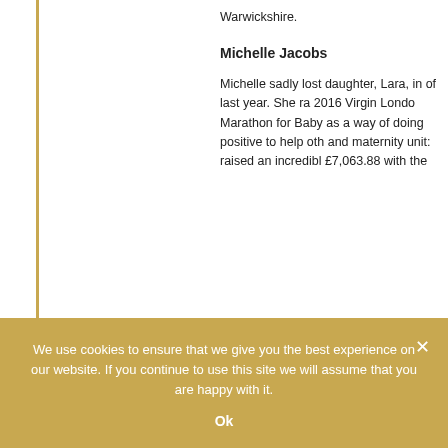Warwickshire.
Michelle Jacobs
Michelle sadly lost daughter, Lara, in of last year. She ra 2016 Virgin Londo Marathon for Baby as a way of doing positive to help oth and maternity unit: raised an incredibl £7,063.88 with the
We use cookies to ensure that we give you the best experience on our website. If you continue to use this site we will assume that you are happy with it.

Ok